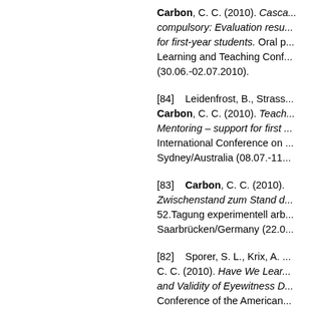Carbon, C. C. (2010). Casca... compulsory: Evaluation resu... for first-year students. Oral p... Learning and Teaching Conf... (30.06.-02.07.2010).
[84]    Leidenfrost, B., Strass... Carbon, C. C. (2010). Teach... Mentoring – support for first ... International Conference on ... Sydney/Australia (08.07.-11...
[83]    Carbon, C. C. (2010).... Zwischenstand zum Stand d... 52.Tagung experimentell arb... Saarbrücken/Germany (22.0...
[82]    Sporer, S. L., Krix, A. ... C. C. (2010). Have We Lear... and Validity of Eyewitness D... Conference of the American...